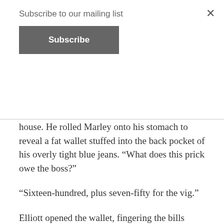Subscribe to our mailing list
Subscribe
house. He rolled Marley onto his stomach to reveal a fat wallet stuffed into the back pocket of his overly tight blue jeans. “What does this prick owe the boss?”
“Sixteen-hundred, plus seven-fifty for the vig.”
Elliott opened the wallet, fingering the bills inside, “Wow. Being a dumbass biker dude must pay better than I thought.” He counted out twenty-four one-hundred-dollar bills and handed them to Jack. He left the remaining thousand dollars in the wallet and